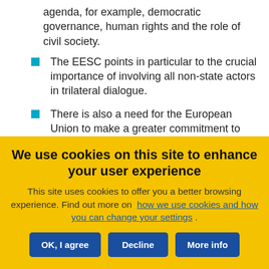agenda, for example, democratic governance, human rights and the role of civil society.
The EESC points in particular to the crucial importance of involving all non-state actors in trilateral dialogue.
There is also a need for the European Union to make a greater commitment to ensuring that its own actions are coherent, with a more
We use cookies on this site to enhance your user experience
This site uses cookies to offer you a better browsing experience. Find out more on how we use cookies and how you can change your settings .